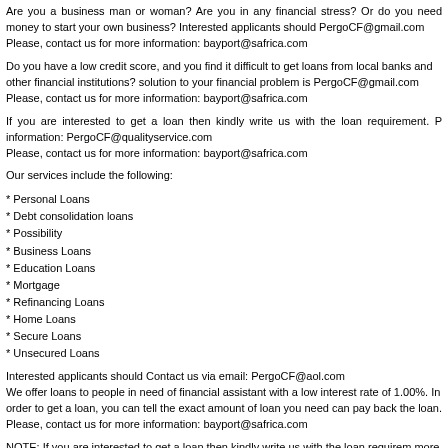Are you a business man or woman? Are you in any financial stress? Or do you need money to start your own business? Interested applicants should PergoCF@gmail.com
Please, contact us for more information: bayport@safrica.com
Do you have a low credit score, and you find it difficult to get loans from local banks and other financial institutions? solution to your financial problem is PergoCF@gmail.com
Please, contact us for more information: bayport@safrica.com
If you are interested to get a loan then kindly write us with the loan requirement. P information: PergoCF@qualityservice.com
Please, contact us for more information: bayport@safrica.com
Our services include the following:
* Personal Loans
* Debt consolidation loans
* Possibility
* Business Loans
* Education Loans
* Mortgage
* Refinancing Loans
* Home Loans
* Secure Loans
* Unsecured Loans
Interested applicants should Contact us via email: PergoCF@aol.com
We offer loans to people in need of financial assistant with a low interest rate of 1.00%. In order to get a loan, you can tell the exact amount of loan you need can pay back the loan. Please, contact us for more information: bayport@safrica.com
NOTE: If you are interested to get a loan then kindly write us with the loan requirem more information: PergoCF@qualityservice.com
If you are interested to get a loan then kindly write us with the loan requirement. P information: bayport@safrica.com
================================================================